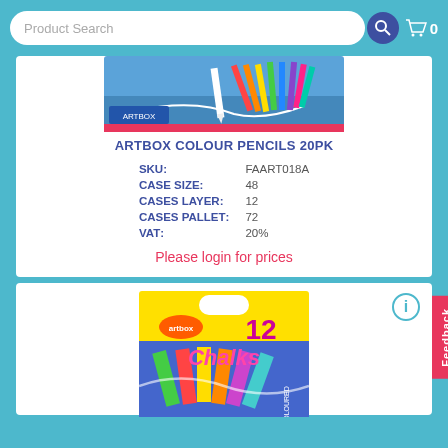Product Search  🛒 0
[Figure (photo): Artbox Colour Pencils 20PK product image - colored pencils fanned out on blue background]
ARTBOX COLOUR PENCILS 20PK
| SKU: | FAART018A |
| CASE SIZE: | 48 |
| CASES LAYER: | 12 |
| CASES PALLET: | 72 |
| VAT: | 20% |
Please login for prices
[Figure (photo): Artbox Chalks 12pk product image - yellow box with coloured chalks]